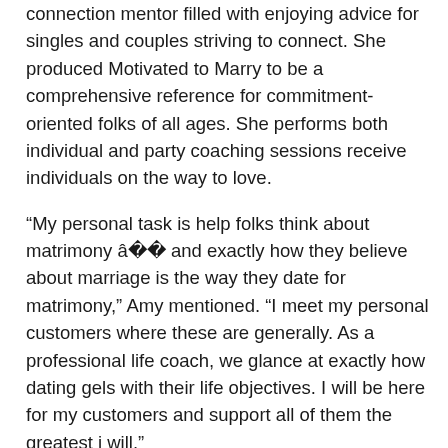connection mentor filled with enjoying advice for singles and couples striving to connect. She produced Motivated to Marry to be a comprehensive reference for commitment-oriented folks of all ages. She performs both individual and party coaching sessions receive individuals on the way to love.
“My personal task is help folks think about matrimony â and exactly how they believe about marriage is the way they date for matrimony,” Amy mentioned. “I meet my personal customers where these are generally. As a professional life coach, we glance at exactly how dating gels with their life objectives. I will be here for my customers and support all of them the greatest i will.”
a help program for Couples in It for any extended Haul
As a personal life advisor, Amy utilizes the traditional